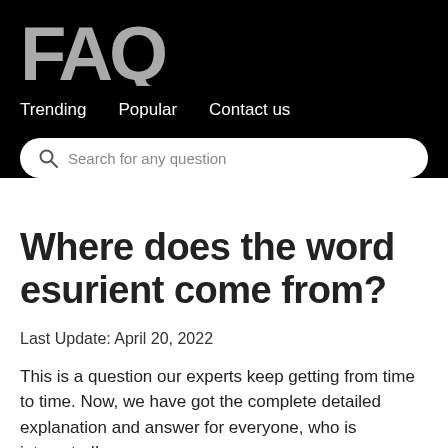FAQ
Trending   Popular   Contact us
Search for any question
Where does the word esurient come from?
Last Update: April 20, 2022
This is a question our experts keep getting from time to time. Now, we have got the complete detailed explanation and answer for everyone, who is interested!